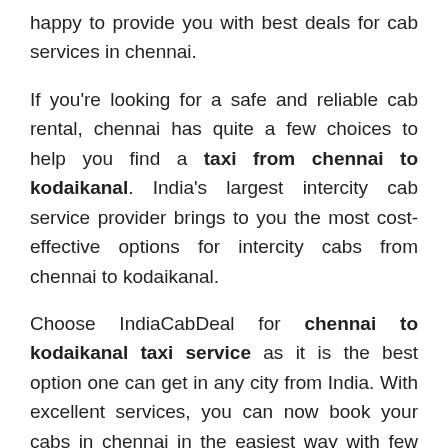happy to provide you with best deals for cab services in chennai.
If you're looking for a safe and reliable cab rental, chennai has quite a few choices to help you find a taxi from chennai to kodaikanal. India's largest intercity cab service provider brings to you the most cost-effective options for intercity cabs from chennai to kodaikanal.
Choose IndiaCabDeal for chennai to kodaikanal taxi service as it is the best option one can get in any city from India. With excellent services, you can now book your cabs in chennai in the easiest way with few simple clicks.
You can book your chennai to kodaikanal taxi at